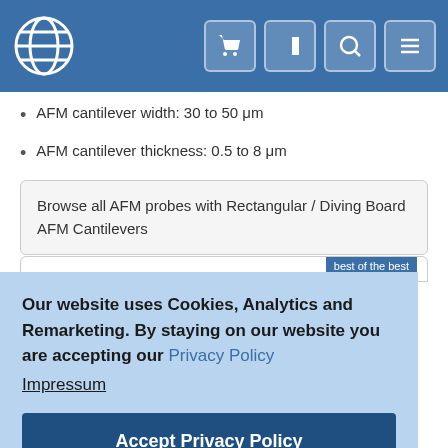[Figure (screenshot): Website navigation bar with globe logo and icon buttons for cart, login, search, and menu on blue background]
AFM cantilever width: 30 to 50 μm
AFM cantilever thickness: 0.5 to 8 μm
Browse all AFM probes with Rectangular / Diving Board AFM Cantilevers
best of the best
Our website uses Cookies, Analytics and Remarketing. By staying on our website you are accepting our Privacy Policy
Impressum
Accept Privacy Policy